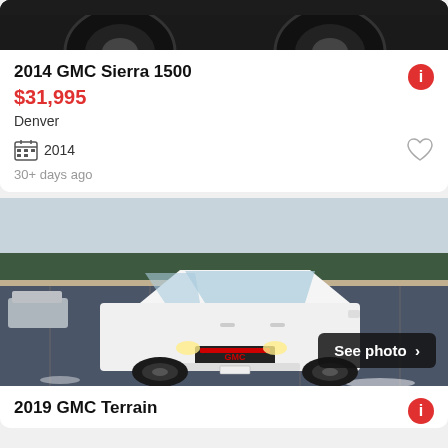[Figure (photo): Partial view of a lifted truck showing large black off-road tires from behind, dark background]
2014 GMC Sierra 1500
$31,995
Denver
2014
30+ days ago
[Figure (photo): White 2019 GMC Terrain SUV parked in an asphalt parking lot with trees and wooden fence in background, winter scene with snow patches. A 'See photo >' button overlay is visible in bottom right.]
2019 GMC Terrain